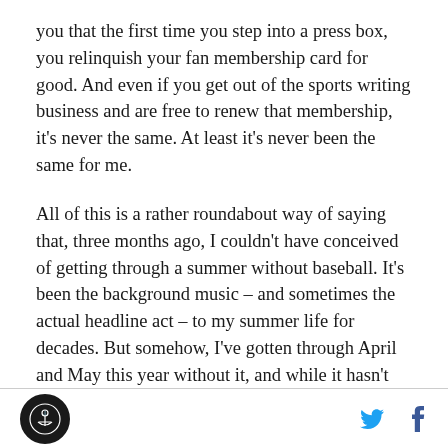you that the first time you step into a press box, you relinquish your fan membership card for good. And even if you get out of the sports writing business and are free to renew that membership, it's never the same. At least it's never been the same for me.
All of this is a rather roundabout way of saying that, three months ago, I couldn't have conceived of getting through a summer without baseball. It's been the background music – and sometimes the actual headline act – to my summer life for decades. But somehow, I've gotten through April and May this year without it, and while it hasn't been fun or easy, each day has gone by and I've survived without the game.
[logo] [twitter] [facebook]